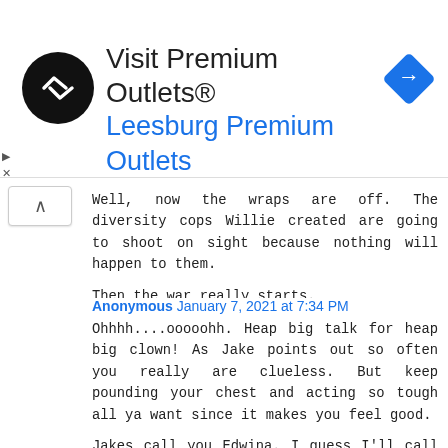[Figure (infographic): Advertisement banner for Visit Premium Outlets® Leesburg Premium Outlets, with a black circular logo with double-arrow symbol on left, the outlet name text in the center, and a blue diamond navigation icon on the right.]
Well, now the wraps are off. The diversity cops Willie created are going to shoot on sight because nothing will happen to them.

Then the war really starts.
Anonymous January 7, 2021 at 7:34 PM

Ohhhh....ooooohh. Heap big talk for heap big clown! As Jake points out so often you really are clueless. But keep pounding your chest and acting so tough all ya want since it makes you feel good.

Jakes call you Edwina. I guess I'll call ya Badass Eddie! Real tough guy but all hat and no cattle as anyone talking about a war is.